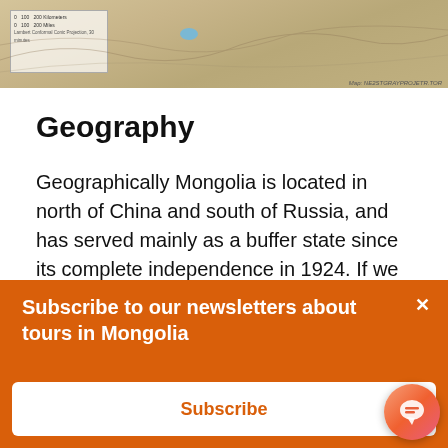[Figure (map): A topographic/geographic map of Mongolia region showing terrain, with a legend box in the upper-left corner and a small blue lake visible. Caption at bottom-right references the map source.]
Geography
Geographically Mongolia is located in north of China and south of Russia, and has served mainly as a buffer state since its complete independence in 1924. If we are talking mainly about the geography of Mongolia, it is more on the northeast side.
Subscribe to our newsletters about tours in Mongolia
Subscribe